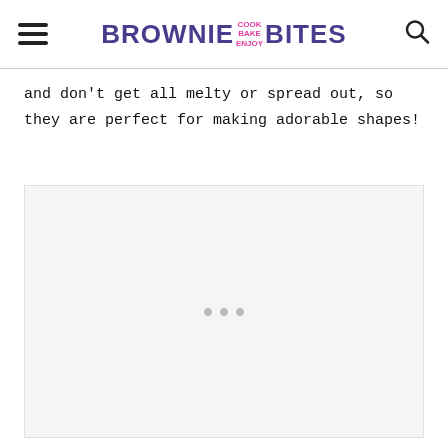BROWNIE COOK BAKE ENJOY BITES
and don't get all melty or spread out, so they are perfect for making adorable shapes!
[Figure (other): Advertisement placeholder with three dots centered in a light gray box]